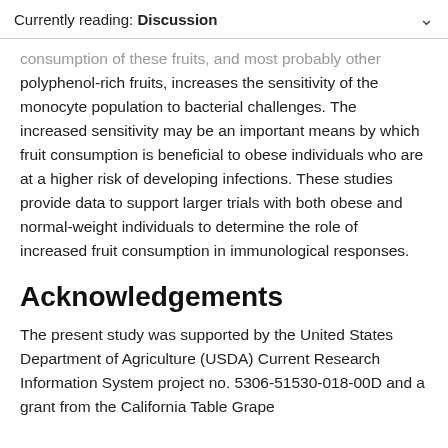Currently reading: Discussion
consumption of these fruits, and most probably other polyphenol-rich fruits, increases the sensitivity of the monocyte population to bacterial challenges. The increased sensitivity may be an important means by which fruit consumption is beneficial to obese individuals who are at a higher risk of developing infections. These studies provide data to support larger trials with both obese and normal-weight individuals to determine the role of increased fruit consumption in immunological responses.
Acknowledgements
The present study was supported by the United States Department of Agriculture (USDA) Current Research Information System project no. 5306-51530-018-00D and a grant from the California Table Grape